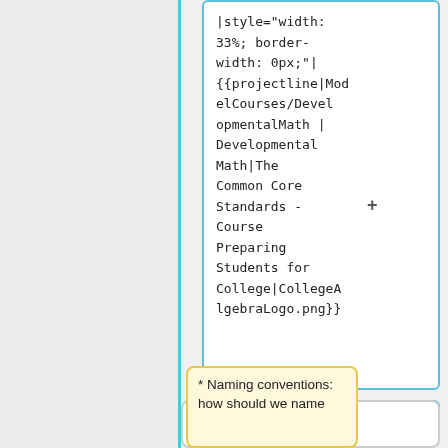|style="width: 33%; border-width: 0px;"| {{projectline|ModelCourses/DevelopmentalMath | Developmental Math|The Common Core Standards - Course Preparing Students for College|CollegeAlgebraLogo.png}}
|}
* Naming conventions: how should we name